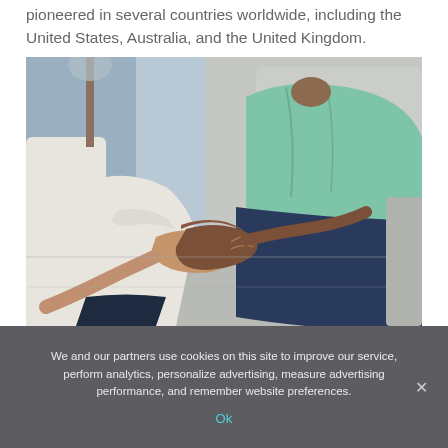pioneered in several countries worldwide, including the United States, Australia, and the United Kingdom.
[Figure (photo): Two people sitting on a couch holding hands in a supportive/counseling pose. One person wears a white top, the other wears a mint/sage green blouse and dark jeans.]
We and our partners use cookies on this site to improve our service, perform analytics, personalize advertising, measure advertising performance, and remember website preferences.
Ok